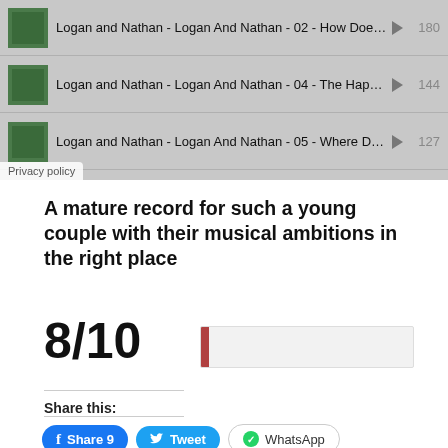[Figure (screenshot): Music player widget showing three tracks: 'Logan and Nathan - Logan And Nathan - 02 - How Does I...' with play count 180, 'Logan and Nathan - Logan And Nathan - 04 - The Happe...' with play count 144, 'Logan and Nathan - Logan And Nathan - 05 - Where Do ...' with play count 127. Privacy policy badge visible at bottom left.]
A mature record for such a young couple with their musical ambitions in the right place
8/10
Share this:
Share 9
Tweet
WhatsApp
Related
Julia Logan “River Run” – flow to the sea
AUK’s Top 10 Americana Albums of the 21st Century: